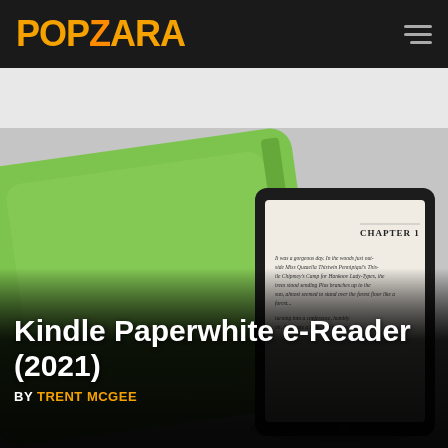POPZARA
[Figure (screenshot): Kobo e-reader navigation strip with label 'kobo' and two navigation arrow buttons on right]
[Figure (photo): Kindle Paperwhite e-reader with green cover/case showing Chapter 1 on screen, placed against white background]
Kindle Paperwhite e-Reader (2021)
BY TRENT MCGEE